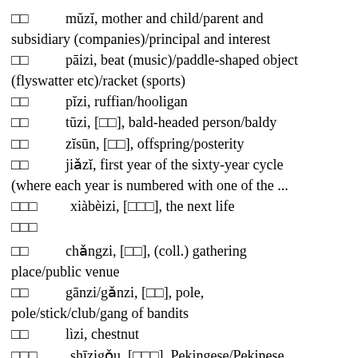□□  mǔzǐ, mother and child/parent and subsidiary (companies)/principal and interest
□□  pāizi, beat (music)/paddle-shaped object (flyswatter etc)/racket (sports)
□□  pǐzi, ruffian/hooligan
□□  tūzi, [□□], bald-headed person/baldy
□□  zǐsūn, [□□], offspring/posterity
□□  jiǎzǐ, first year of the sixty-year cycle (where each year is numbered with one of the ...
□□□  xiàbèizi, [□□□], the next life
□□□
□□  chǎngzi, [□□], (coll.) gathering place/public venue
□□  gānzi/gǎnzi, [□□], pole, pole/stick/club/gang of bandits
□□  lìzi, chestnut
□□□  shīzigǒu, [□□□], Pekingese/Pekinese